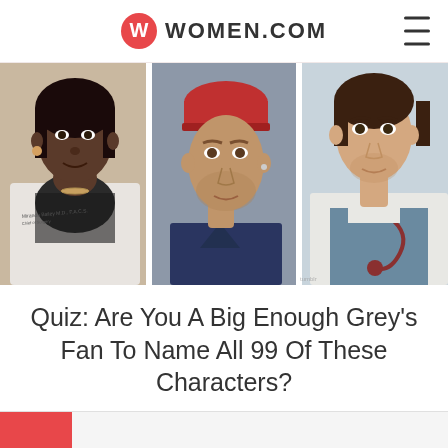women.com
[Figure (photo): Three Grey's Anatomy characters side by side: a Black woman in a white doctor's coat on the left, a man in a red surgical cap and dark scrubs in the center, and a young man in a white coat with stethoscope on the right.]
Quiz: Are You A Big Enough Grey's Fan To Name All 99 Of These Characters?
BY ASHLEY FERRARO
Mar 08